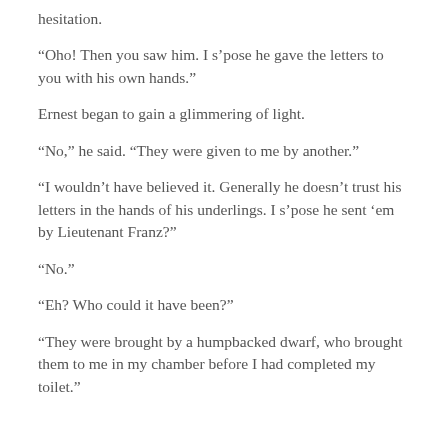hesitation.
“Oho! Then you saw him. I s’pose he gave the letters to you with his own hands.”
Ernest began to gain a glimmering of light.
“No,” he said. “They were given to me by another.”
“I wouldn’t have believed it. Generally he doesn’t trust his letters in the hands of his underlings. I s’pose he sent ‘em by Lieutenant Franz?”
“No.”
“Eh? Who could it have been?”
“They were brought by a humpbacked dwarf, who brought them to me in my chamber before I had completed my toilet.”